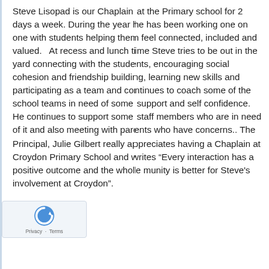Steve Lisopad is our Chaplain at the Primary school for 2 days a week. During the year he has been working one on one with students helping them feel connected, included and valued.   At recess and lunch time Steve tries to be out in the yard connecting with the students, encouraging social cohesion and friendship building, learning new skills and participating as a team and continues to coach some of the school teams in need of some support and self confidence. He continues to support some staff members who are in need of it and also meeting with parents who have concerns.. The Principal, Julie Gilbert really appreciates having a Chaplain at Croydon Primary School and writes “Every interaction has a positive outcome and the whole munity is better for Steve's involvement at Croydon”.